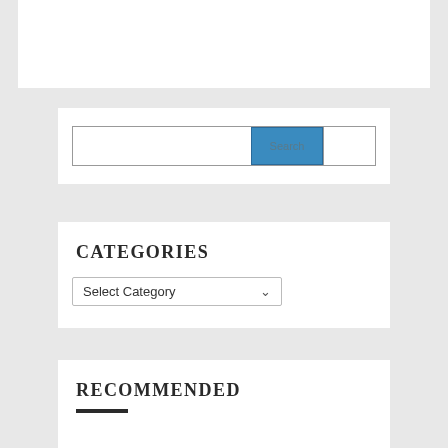[Figure (screenshot): White rectangular box at the top of the page, representing a header or banner area]
[Figure (screenshot): Search widget with a text input field, a blue Search button, and an additional white cell to the right]
CATEGORIES
[Figure (screenshot): Dropdown selector showing 'Select Category' with a chevron/arrow icon]
RECOMMENDED